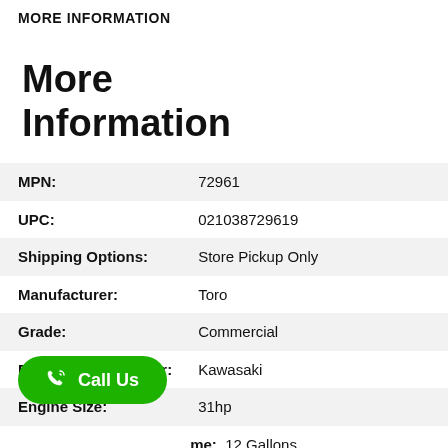MORE INFORMATION
More Information
| MPN: | 72961 |
| UPC: | 021038729619 |
| Shipping Options: | Store Pickup Only |
| Manufacturer: | Toro |
| Grade: | Commercial |
| Engine Manufacturer: | Kawasaki |
| Engine Size: | 31hp |
| [Fuel Tank Volu]me: | 12 Gallons |
| [Air Filter:] Heavy-D | uty Canister Air Cleaner |
| Oil Filter: | Yes |